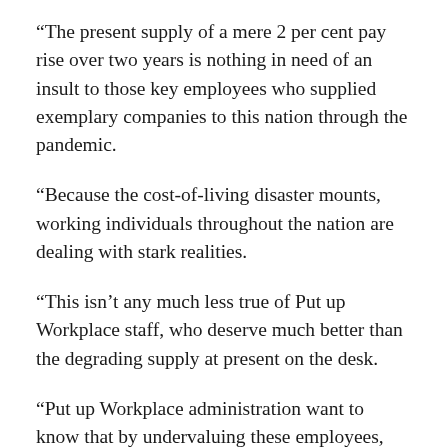“The present supply of a mere 2 per cent pay rise over two years is nothing in need of an insult to those key employees who supplied exemplary companies to this nation through the pandemic.
“Because the cost-of-living disaster mounts, working individuals throughout the nation are dealing with stark realities.
“This isn’t any much less true of Put up Workplace staff, who deserve much better than the degrading supply at present on the desk.
“Put up Workplace administration want to know that by undervaluing these employees, they’ve provoked actual anger throughout the nation.
“We urge them to get around the desk with us and attain an honest, truthful settlement that exhibits